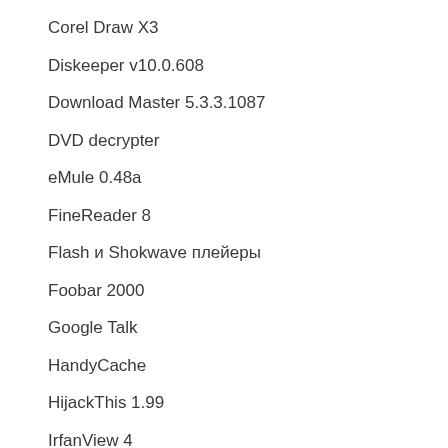Corel Draw X3
Diskeeper v10.0.608
Download Master 5.3.3.1087
DVD decrypter
eMule 0.48a
FineReader 8
Flash и Shokwave плейеры
Foobar 2000
Google Talk
HandyCache
HijackThis 1.99
IrfanView 4
iTunes